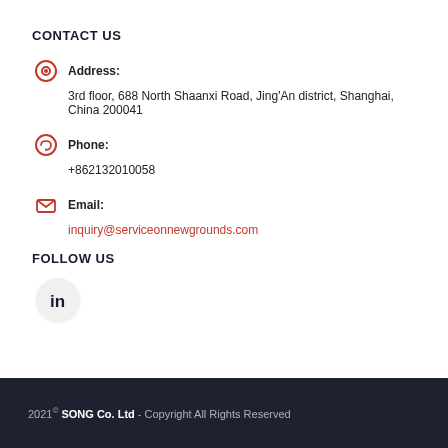CONTACT US
Address:
3rd floor, 688 North Shaanxi Road, Jing'An district, Shanghai, China 200041
Phone:
+862132010058
Email:
inquiry@serviceonnewgrounds.com
FOLLOW US
[Figure (logo): LinkedIn icon button — circular grey button with 'in' logo]
2021© SONG Co. Ltd - Copyright All Rights Reserved